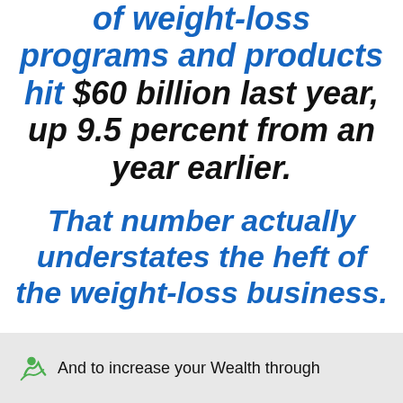of weight-loss programs and products hit $60 billion last year, up 9.5 percent from an year earlier.
That number actually understates the heft of the weight-loss business.
Literally, Your HEALTH is Your WEALTH!
And to increase your Wealth through